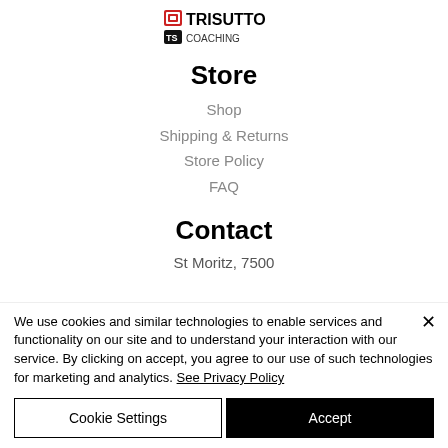[Figure (logo): Trisutto logo with small icon and stylized text]
Store
Shop
Shipping & Returns
Store Policy
FAQ
Contact
St Moritz, 7500
We use cookies and similar technologies to enable services and functionality on our site and to understand your interaction with our service. By clicking on accept, you agree to our use of such technologies for marketing and analytics. See Privacy Policy